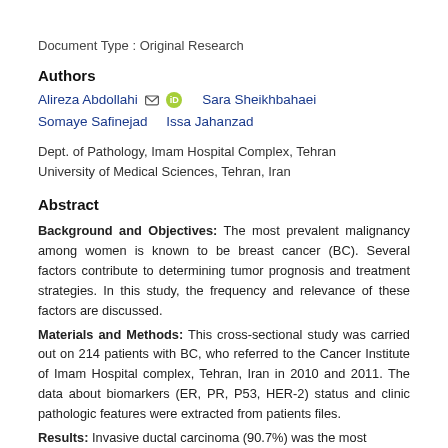Document Type : Original Research
Authors
Alireza Abdollahi [email] [orcid]   Sara Sheikhbahaei
Somaye Safinejad    Issa Jahanzad
Dept. of Pathology, Imam Hospital Complex, Tehran University of Medical Sciences, Tehran, Iran
Abstract
Background and Objectives: The most prevalent malignancy among women is known to be breast cancer (BC). Several factors contribute to determining tumor prognosis and treatment strategies. In this study, the frequency and relevance of these factors are discussed.
Materials and Methods: This cross-sectional study was carried out on 214 patients with BC, who referred to the Cancer Institute of Imam Hospital complex, Tehran, Iran in 2010 and 2011. The data about biomarkers (ER, PR, P53, HER-2) status and clinic pathologic features were extracted from patients files.
Results: Invasive ductal carcinoma (90.7%) was the most